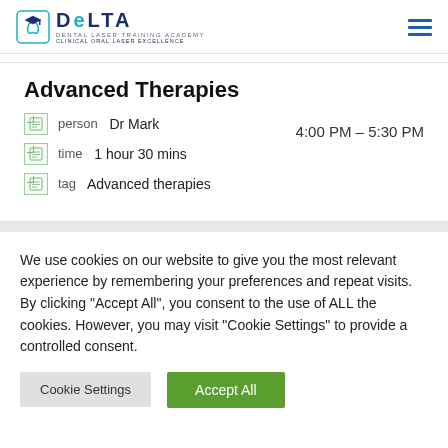[Figure (logo): Delta Dental Laser Training Academy logo with graduation cap icon, dark blue DELTA text with teal 'e', taglines: DENTAL LASER TRAINING ACADEMY and CLINICAL ORAL LASER EXCELLENCE]
Advanced Therapies
person   Dr Mark
time   1 hour 30 mins
4:00 PM – 5:30 PM
tag   Advanced therapies
We use cookies on our website to give you the most relevant experience by remembering your preferences and repeat visits. By clicking "Accept All", you consent to the use of ALL the cookies. However, you may visit "Cookie Settings" to provide a controlled consent.
Cookie Settings
Accept All